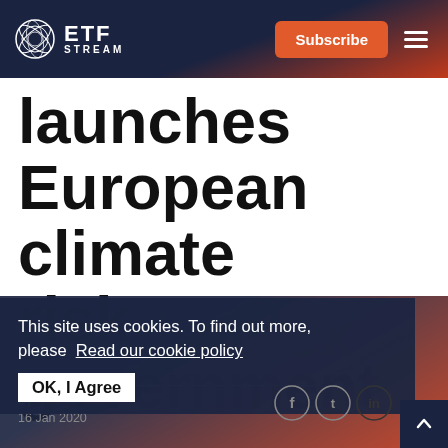ETF STREAM
launches European climate risk government bond index
This site uses cookies. To find out more, please Read our cookie policy
OK, I Agree
By George Geddes
16 Jan 2020